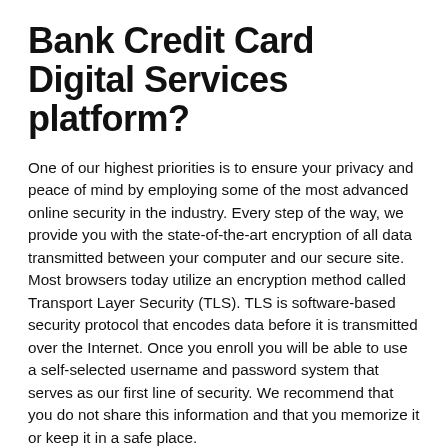Bank Credit Card Digital Services platform?
One of our highest priorities is to ensure your privacy and peace of mind by employing some of the most advanced online security in the industry. Every step of the way, we provide you with the state-of-the-art encryption of all data transmitted between your computer and our secure site. Most browsers today utilize an encryption method called Transport Layer Security (TLS). TLS is software-based security protocol that encodes data before it is transmitted over the Internet. Once you enroll you will be able to use a self-selected username and password system that serves as our first line of security. We recommend that you do not share this information and that you memorize it or keep it in a safe place.
What are the sufficient web browser levels to view the website and how can I